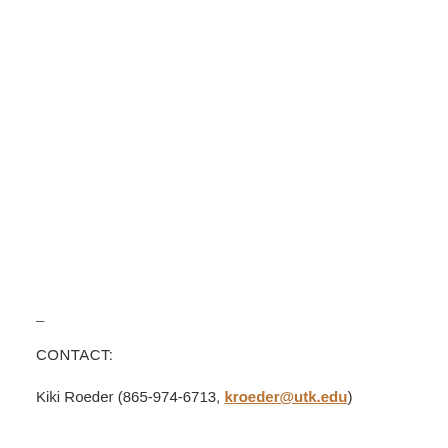–
CONTACT:
Kiki Roeder (865-974-6713, kroeder@utk.edu)